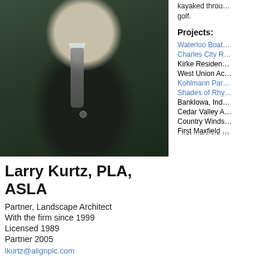[Figure (photo): Professional headshot of Larry Kurtz, a man in a dark suit with tie, standing in front of green foliage background]
Larry Kurtz, PLA, ASLA
Partner, Landscape Architect
With the firm since 1999
Licensed 1989
Partner 2005
lkurtz@alignplc.com
kayaked through golf.
Projects:
Waterloo Boat...
Charles City R...
Kirke Residen...
West Union Ac...
Kohlmann Par...
Shades of Rhy...
Banklowa, Ind...
Cedar Valley A...
Country Winds...
First Maxfield ...